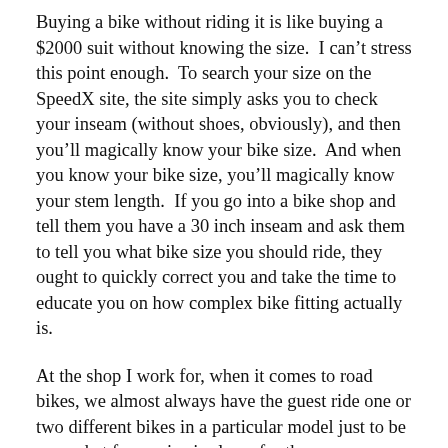Buying a bike without riding it is like buying a $2000 suit without knowing the size.  I can’t stress this point enough.  To search your size on the SpeedX site, the site simply asks you to check your inseam (without shoes, obviously), and then you’ll magically know your bike size.  And when you know your bike size, you’ll magically know your stem length.  If you go into a bike shop and tell them you have a 30 inch inseam and ask them to tell you what bike size you should ride, they ought to quickly correct you and take the time to educate you on how complex bike fitting actually is.
At the shop I work for, when it comes to road bikes, we almost always have the guest ride one or two different bikes in a particular model just to be sure what frame size is closer for them.  Recognizing that most riders can ride two different sizes we then ask what kind of riding they’re doing, how their flexibility is, how often they plan to ride, and how long do they see themselves owning the bike.  For example; a more experienced rider